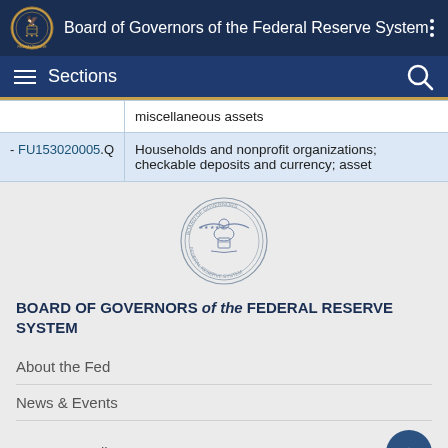Board of Governors of the Federal Reserve System
Sections
| Code | Description |
| --- | --- |
|  | miscellaneous assets |
| - FU153020005.Q | Households and nonprofit organizations; checkable deposits and currency; asset |
[Figure (logo): Federal Reserve seal/logo circle in footer area]
BOARD OF GOVERNORS of the FEDERAL RESERVE SYSTEM
About the Fed
News & Events
Monetary Policy
Supervision & Regulation